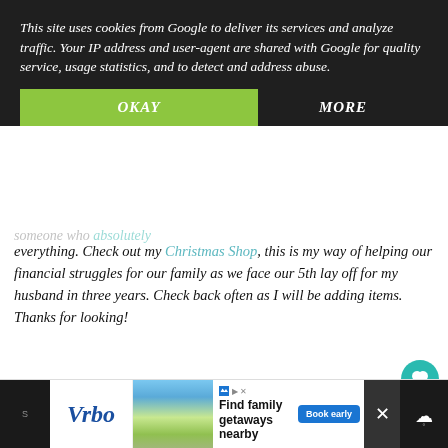This site uses cookies from Google to deliver its services and analyze traffic. Your IP address and user-agent are shared with Google for quality service, usage statistics, and to detect and address abuse.
OKAY
MORE
someone who absolutely everything. Check out my Christmas Shop, this is my way of helping our financial struggles for our family as we face our 5th lay off for my husband in three years. Check back often as I will be adding items. Thanks for looking!
[Figure (photo): A Christmas wreath with green pine branches, a large blue and purple decorative bow, twinkling lights, and snowman ornaments, hanging on a wooden background.]
1
WHAT'S NEXT → Lemonade
Find family getaways nearby
Book early